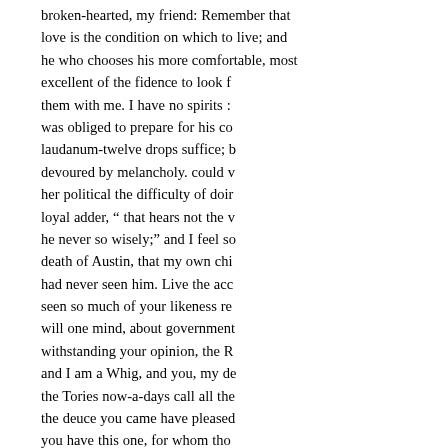broken-hearted, my friend: Remember that love is the condition on which to live; and he who chooses his more comfortable, most excellent of the fidence to look for them with me. I have no spirits : was obliged to prepare for his coming laudanum-twelve drops suffice; b devoured by melancholy. could v her political the difficulty of doin loyal adder, " that hears not the v he never so wisely;" and I feel so death of Austin, that my own chi had never seen him. Live the acc seen so much of your likeness re will one mind, about government withstanding your opinion, the R and I am a Whig, and you, my de the Tories now-a-days call all the the deuce you came have pleased you have this one, for whom tho have still Romney and Carwardin poor Mary, and I know not how n
W. C. beside; as many, I suppo most friends must necessarily lo